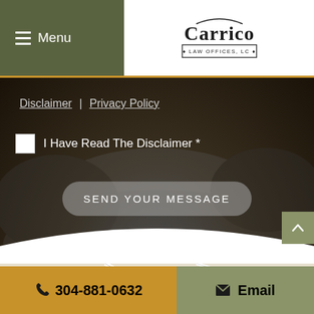[Figure (logo): Carrico Law Offices, LC logo with decorative serif text]
Menu
Disclaimer | Privacy Policy
I Have Read The Disclaimer *
SEND YOUR MESSAGE
[Figure (map): Street map showing local area with street names]
304-881-0632
Email